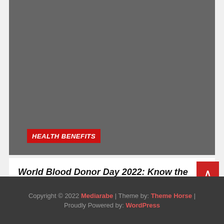[Figure (photo): Dark gray image placeholder block for a health/medical article image]
HEALTH BENEFITS
World Blood Donor Day 2022: Know the many health benefits of donating blood | Health
June 13, 2022 / iwano@_84
Copyright © 2022 Mediarabe | Theme by: Theme Horse | Proudly Powered by: WordPress